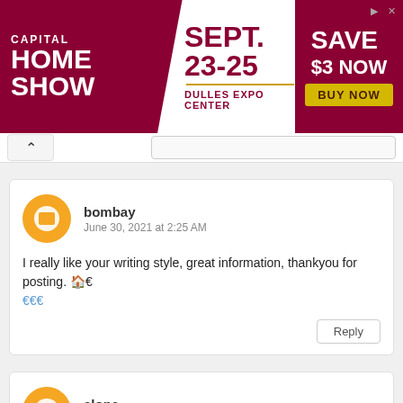[Figure (screenshot): Capital Home Show advertisement banner. Red background on left with 'CAPITAL HOME SHOW' text in white. Center white section with 'SEPT. 23-25' in large red text and 'DULLES EXPO CENTER' below. Right section in red with 'SAVE $3 NOW' and a yellow 'BUY NOW' button.]
bombay
June 30, 2021 at 2:25 AM
I really like your writing style, great information, thankyou for posting. 🏡 🏠🏠🏠
alone
July 3, 2021 at 4:13 AM
I am very impressed with your writingsex I couldn't think of this, but it's amazing! I wrote several posts similar to this one, but please come and